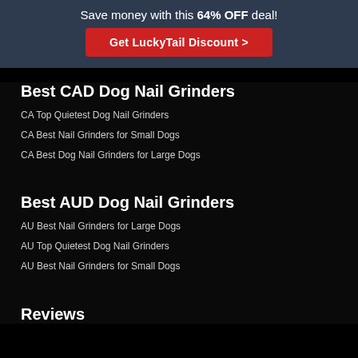Save money with this 64% OFF deal!
Get LuckyTail Discount >
Best CAD Dog Nail Grinders
CA Top Quietest Dog Nail Grinders
CA Best Nail Grinders for Small Dogs
CA Best Dog Nail Grinders for Large Dogs
Best AUD Dog Nail Grinders
AU Best Nail Grinders for Large Dogs
AU Top Quietest Dog Nail Grinders
AU Best Nail Grinders for Small Dogs
Reviews